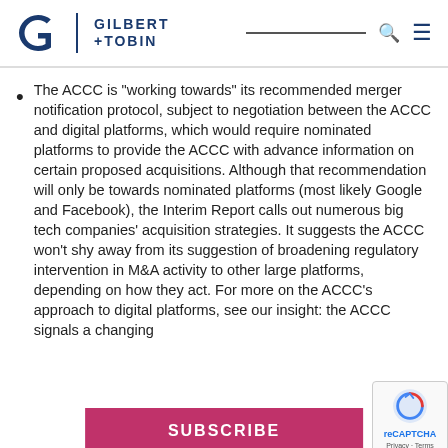Gilbert + Tobin
The ACCC is “working towards” its recommended merger notification protocol, subject to negotiation between the ACCC and digital platforms, which would require nominated platforms to provide the ACCC with advance information on certain proposed acquisitions. Although that recommendation will only be towards nominated platforms (most likely Google and Facebook), the Interim Report calls out numerous big tech companies’ acquisition strategies. It suggests the ACCC won’t shy away from its suggestion of broadening regulatory intervention in M&A activity to other large platforms, depending on how they act. For more on the ACCC’s approach to digital platforms, see our insight: the ACCC signals a changing